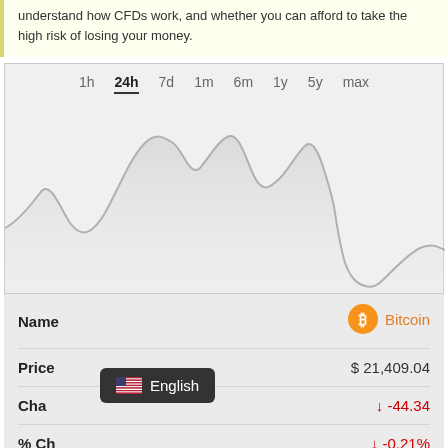understand how CFDs work, and whether you can afford to take the high risk of losing your money.
[Figure (continuous-plot): Bitcoin 24-hour price chart showing a line/area chart with time period navigation tabs (1h, 24h, 7d, 1m, 6m, 1y, 5y, max). The 24h tab is selected. The chart shows a wavy price curve with multiple peaks and a deep trough near the right side.]
| Name |  |
| --- | --- |
| Name | Bitcoin |
| Price | $ 21,409.04 |
| Change | ↓ -44.34 |
| % Change | ↓ -0.21% |